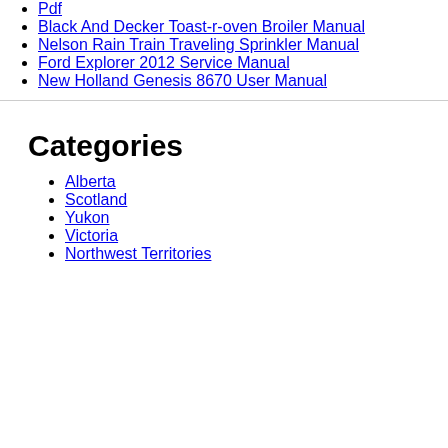Pdf
Black And Decker Toast-r-oven Broiler Manual
Nelson Rain Train Traveling Sprinkler Manual
Ford Explorer 2012 Service Manual
New Holland Genesis 8670 User Manual
Categories
Alberta
Scotland
Yukon
Victoria
Northwest Territories